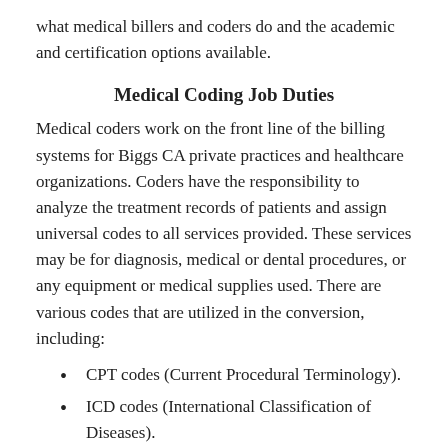what medical billers and coders do and the academic and certification options available.
Medical Coding Job Duties
Medical coders work on the front line of the billing systems for Biggs CA private practices and healthcare organizations. Coders have the responsibility to analyze the treatment records of patients and assign universal codes to all services provided. These services may be for diagnosis, medical or dental procedures, or any equipment or medical supplies used. There are various codes that are utilized in the conversion, including:
CPT codes (Current Procedural Terminology).
ICD codes (International Classification of Diseases).
HCPCS codes (Healthcare Common Procedure Coding).
Medical coders rely on information from sources such as